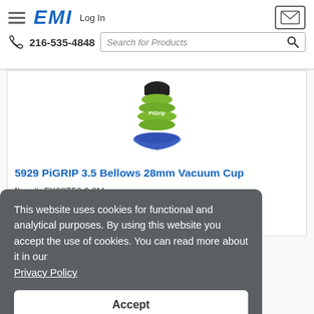EMI — Log In | 216-535-4848 | Search for Products
[Figure (photo): Green and black PiGRIP 3.5 Bellows 28mm Vacuum Cup product photo]
5929 PiGRIP 3.5 Bellows 28mm Vacuum Cup
Item#: FX28T50 3 8M
Available: Low Stock
This website uses cookies for functional and analytical purposes. By using this website you accept the use of cookies. You can read more about it in our Privacy Policy
Accept
[Figure (photo): Partial view of another green PiGRIP vacuum cup product at bottom of page]